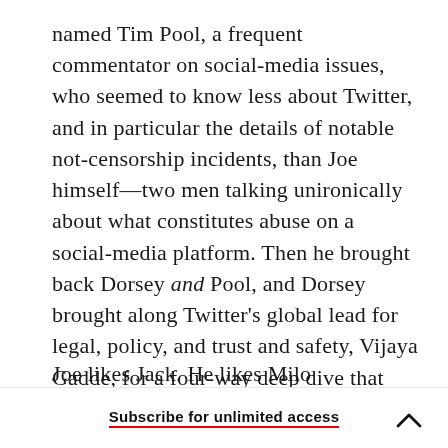named Tim Pool, a frequent commentator on social-media issues, who seemed to know less about Twitter, and in particular the details of notable not-censorship incidents, than Joe himself—two men talking unironically about what constitutes abuse on a social-media platform. Then he brought back Dorsey and Pool, and Dorsey brought along Twitter's global lead for legal, policy, and trust and safety, Vijaya Gadde, for a four-way deep dive that was so circular and confusing it reminded me of Twitter itself.
Joe likes Jack. He likes Milo Yiannopoulos. He
Subscribe for unlimited access